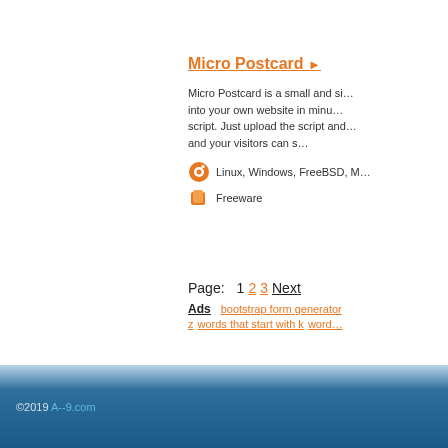Micro Postcard ▶
Micro Postcard is a small and si... into your own website in minu... script. Just upload the script and and your visitors can s...
Linux, Windows, FreeBSD, M
Freeware
Page:   1  2  3  Next
Ads   bootstrap form generator
z   words that start with k   word...
©2019 A--9.com